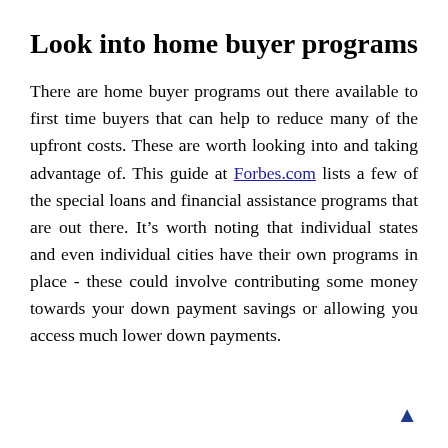Look into home buyer programs
There are home buyer programs out there available to first time buyers that can help to reduce many of the upfront costs. These are worth looking into and taking advantage of. This guide at Forbes.com lists a few of the special loans and financial assistance programs that are out there. It’s worth noting that individual states and even individual cities have their own programs in place - these could involve contributing some money towards your down payment savings or allowing you access much lower down payments.